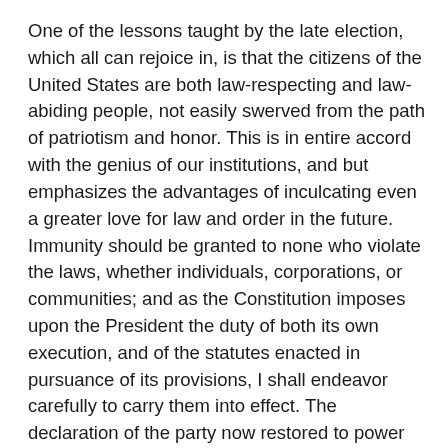One of the lessons taught by the late election, which all can rejoice in, is that the citizens of the United States are both law-respecting and law-abiding people, not easily swerved from the path of patriotism and honor. This is in entire accord with the genius of our institutions, and but emphasizes the advantages of inculcating even a greater love for law and order in the future. Immunity should be granted to none who violate the laws, whether individuals, corporations, or communities; and as the Constitution imposes upon the President the duty of both its own execution, and of the statutes enacted in pursuance of its provisions, I shall endeavor carefully to carry them into effect. The declaration of the party now restored to power has been in the past that of "opposition to all combinations of capital organized in trusts, or otherwise, to control arbitrarily the condition of trade among our citizens," and it has supported "such legislation as will prevent the execution of all schemes to oppress the people by undue charges on their supplies, or by unjust rates for the transportation of their products to the market." This purpose will be steadily pursued, both by the enforcement of the laws now in existence and the